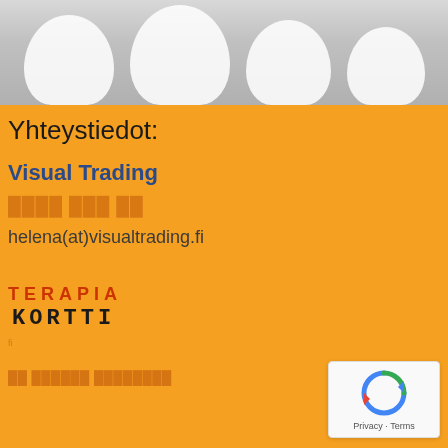[Figure (photo): Top portion showing white bottle/jar shapes against a grey background]
Yhteystiedot:
Visual Trading
[phone number redacted]
helena(at)visualtrading.fi
[Figure (logo): Terapiakortti logo with TERAPIA in red and KORTTI in black bold text]
[website link redacted]
[Figure (other): reCAPTCHA widget with Privacy and Terms text]